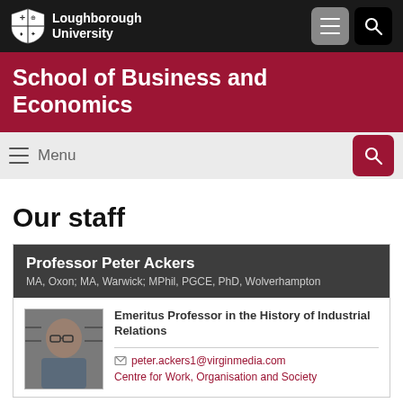[Figure (logo): Loughborough University logo with shield and text in top navigation bar]
School of Business and Economics
Menu
Our staff
Professor Peter Ackers
MA, Oxon; MA, Warwick; MPhil, PGCE, PhD, Wolverhampton
[Figure (photo): Headshot photo of Professor Peter Ackers, a man with glasses in front of bookshelves]
Emeritus Professor in the History of Industrial Relations
peter.ackers1@virginmedia.com
Centre for Work, Organisation and Society